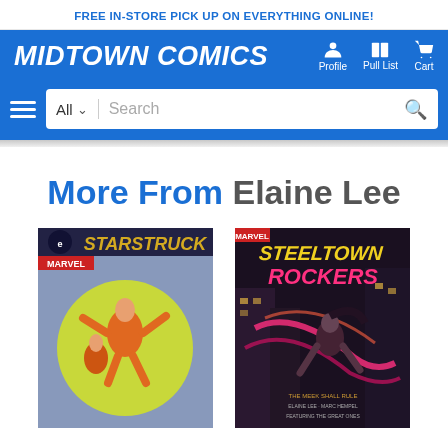FREE IN-STORE PICK UP ON EVERYTHING ONLINE!
MIDTOWN COMICS
Profile   Pull List   Cart
All   Search
More From Elaine Lee
[Figure (illustration): Comic book cover for Starstruck featuring a character in orange costume on a yellow-green circular background with the Eclipse Comics logo]
[Figure (illustration): Comic book cover for Steeltown Rockers featuring dark urban background with red/pink text and action scene]